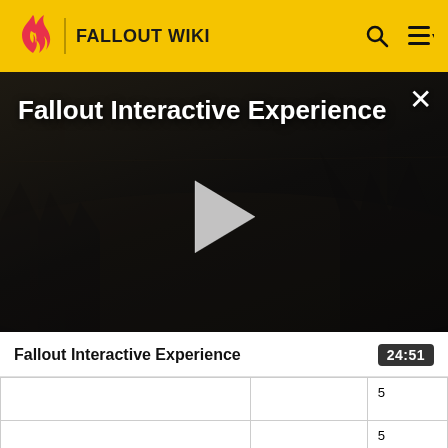FALLOUT WIKI
[Figure (screenshot): Dark post-apocalyptic video still with foggy trees and power lines. Title text reads 'Fallout Interactive Experience'. A play button triangle is centered. A close (X) button is in the top right corner.]
Fallout Interactive Experience
24:51
|  |  | 5 |
| I need a drink. | N | 5 |